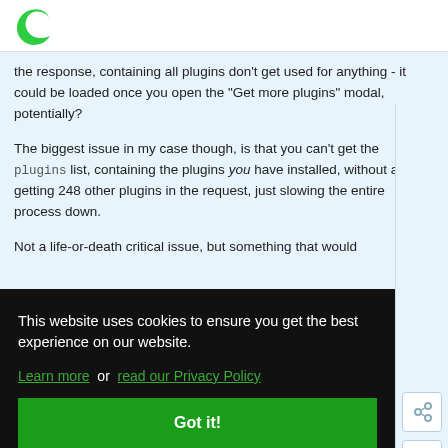[Codecanyon/Envato logo]
the response, containing all plugins don't get used for anything - it could be loaded once you open the "Get more plugins" modal, potentially?
The biggest issue in my case though, is that you can't get the plugins list, containing the plugins you have installed, without also getting 248 other plugins in the request, just slowing the entire process down.
Not a life-or-death critical issue, but something that would [...]eople
This website uses cookies to ensure you get the best experience on our website. Learn more  or  read our Privacy Policy
Got it!